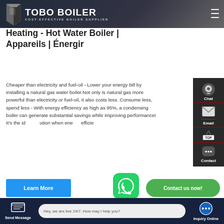TOBO BOILER - COST-EFFECTIVE BOILER SUPPLIER
Heating - Hot Water Boiler | Appareils | Énergir
Cheaper than electricity and fuel-oil - Lower your energy bill by installing a natural gas water boiler. Not only is natural gas more powerful than electricity or fuel-oil, it also costs less. Consume less, spend less - With energy efficiency as high as 95%, a condensing boiler can generate substantial savings while improving performance! It's the ideal solution when energy efficiency is a priority.
[Figure (screenshot): Learn More blue button and Contact us now! green button overlay with WhatsApp floating icon]
Send Message | Hey, we are live 24/7. How may I help you? | Inquiry Online